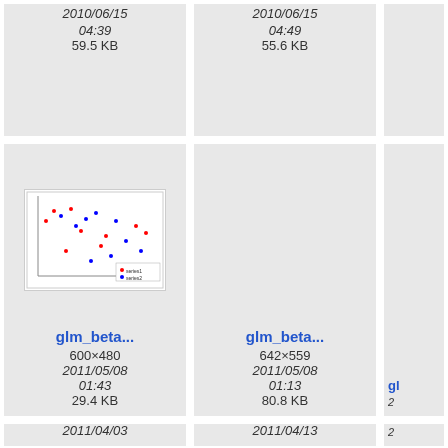[Figure (screenshot): File browser grid showing image thumbnails with filenames, dimensions, dates, and sizes. Partial top row shows two cells with date 2010/06/15, times 04:39 and 04:49, sizes 59.5 KB and 55.6 KB. Middle row: glm_beta... (600x480, 2011/05/08 01:43, 29.4 KB) with scatter plot thumbnail, glm_beta... (642x559, 2011/05/08 01:13, 80.8 KB), and partial right cell gl... Bottom row: glm_sing... (634x503, 2011/04/03), importrfx... (624x624, 2011/04/13), partial right cell ma...]